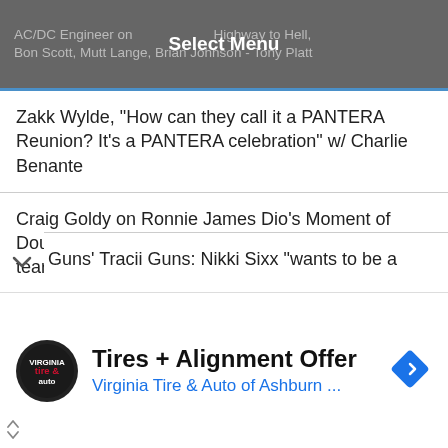Select Menu — AC/DC Engineer on Highway to Hell, Bon Scott, Mutt Lange, Brian Johnson - Tony Platt
Zakk Wylde, "How can they call it a PANTERA Reunion? It's a PANTERA celebration" w/ Charlie Benante
Craig Goldy on Ronnie James Dio's Moment of Doubt Before Releasing Holy Diver, "I'm almost in tears"
RATT's Warren DeMartini on Eddie Van Halen, Ronnie James Dio, Robbin Crosby, Charvel Guitars - 2022
Ex-W.A.S.P. Guitarist Chris Holmes Gives Health Update #2: “The cancer is gone” - 2022
Guns' Tracii Guns: Nikki Sixx "wants to be a ..."
Tires + Alignment Offer
Virginia Tire & Auto of Ashburn ...